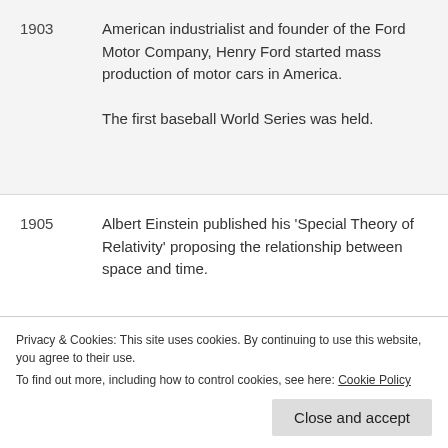1903 — American industrialist and founder of the Ford Motor Company, Henry Ford started mass production of motor cars in America.

The first baseball World Series was held.
1905 — Albert Einstein published his 'Special Theory of Relativity' proposing the relationship between space and time.
1906 — A massive 7.9 (estimated) magnitude earthquake struck California, killing 3,000 people and destroying 80% of San Francisco. The Britain suffragette movement began, aiming to give women the vote.
Guides movement.
Privacy & Cookies: This site uses cookies. By continuing to use this website, you agree to their use.
To find out more, including how to control cookies, see here: Cookie Policy